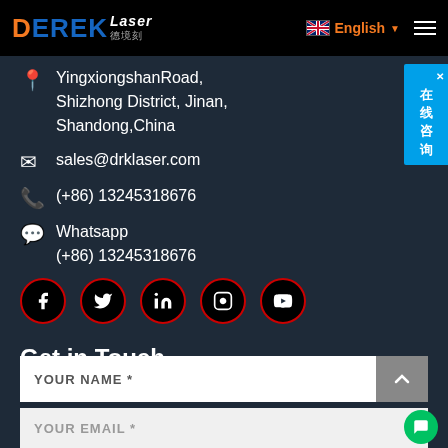DEREK Laser 德境刻 | English
YingxiongshanRoad, Shizhong District, Jinan, Shandong,China
sales@drklaser.com
(+86) 13245318676
Whatsapp (+86) 13245318676
[Figure (other): Social media icons: Facebook, Twitter, LinkedIn, Instagram, YouTube]
Get in Touch
YOUR NAME *
YOUR EMAIL *